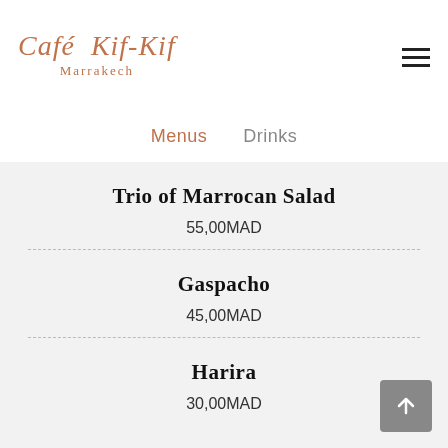Café Kif-Kif Marrakech
Menus  Drinks
Trio of Marrocan Salad
55,00MAD
Gaspacho
45,00MAD
Harira
30,00MAD